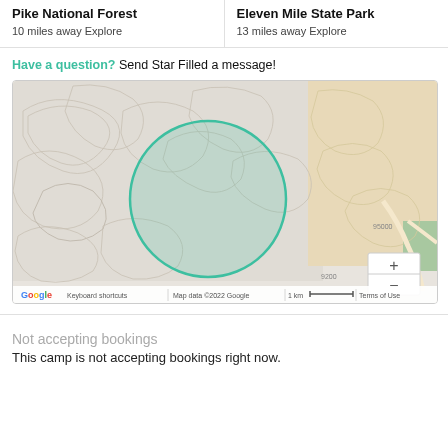Pike National Forest
10 miles away Explore
Eleven Mile State Park
13 miles away Explore
Have a question? Send Star Filled a message!
[Figure (map): Topographic map showing hilly terrain with a teal circle overlay indicating a location area. Map includes Google branding, keyboard shortcuts, map data copyright 2022 Google, 1 km scale bar, Terms of Use, and zoom controls (+/-).]
Not accepting bookings
This camp is not accepting bookings right now.